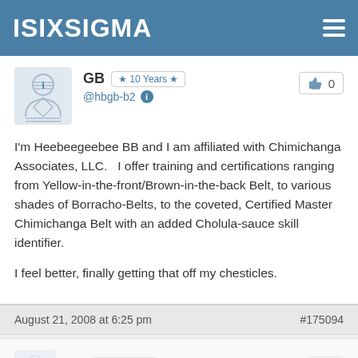ISIXSIGMA
GB  ★ 10 Years ★  @hbgb-b2
I'm Heebeegeebee BB and I am affiliated with Chimichanga Associates, LLC.   I offer training and certifications ranging from Yellow-in-the-front/Brown-in-the-back Belt, to various shades of Borracho-Belts, to the coveted, Certified Master Chimichanga Belt with an added Cholula-sauce skill identifier.

I feel better, finally getting that off my chesticles.
August 21, 2008 at 6:25 pm  #175094